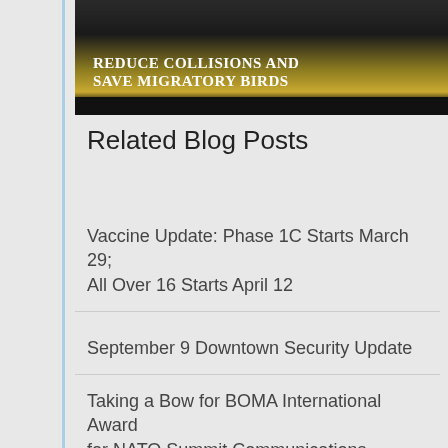[Figure (photo): Photo overlay with text reading 'Reduce Collisions and Save Migratory Birds' on a dark gradient background with golden/yellow tones]
Related Blog Posts
Vaccine Update: Phase 1C Starts March 29; All Over 16 Starts April 12
September 9 Downtown Security Update
Taking a Bow for BOMA International Award for NATO Summit Communications